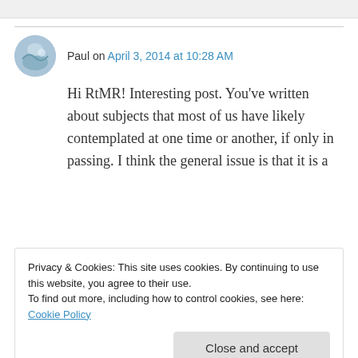Paul on April 3, 2014 at 10:28 AM
Hi RtMR! Interesting post. You've written about subjects that most of us have likely contemplated at one time or another, if only in passing. I think the general issue is that it is a
Privacy & Cookies: This site uses cookies. By continuing to use this website, you agree to their use.
To find out more, including how to control cookies, see here: Cookie Policy
Close and accept
can't, building materials to keep us warm and